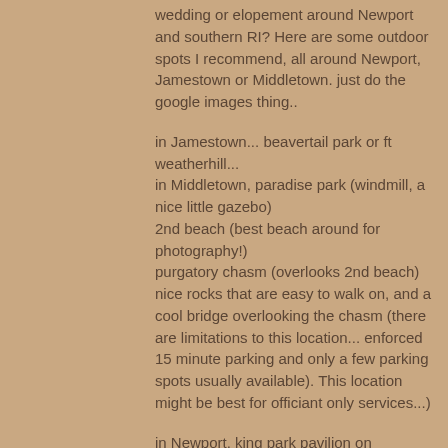wedding or elopement around Newport and southern RI? Here are some outdoor spots I recommend, all around Newport, Jamestown or Middletown. just do the google images thing..
in Jamestown... beavertail park or ft weatherhill...
in Middletown, paradise park (windmill, a nice little gazebo)
2nd beach (best beach around for photography!)
purgatory chasm (overlooks 2nd beach) nice rocks that are easy to walk on, and a cool bridge overlooking the chasm (there are limitations to this location... enforced 15 minute parking and only a few parking spots usually available). This location might be best for officiant only services...)
in Newport, king park pavilion on wellington ave (harbor views... nice spot for pics!)
fort adams in newport overlooking the